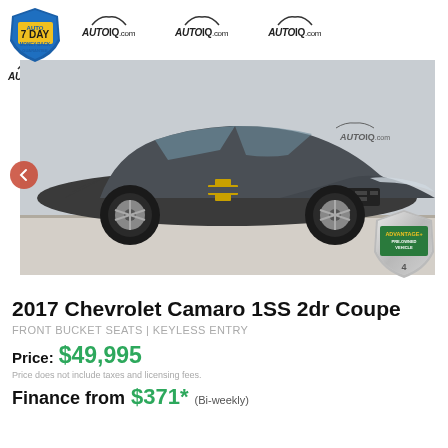[Figure (photo): 2017 Chevrolet Camaro 1SS 2dr Coupe in dark grey/graphite color, photographed on a lot with AutoIQ.com watermark background and an Advantage+ Pre-Owned Vehicle badge in the lower right corner. A 7 Day Money Back Guarantee badge is visible in the upper left. A red navigation arrow is on the left side.]
2017 Chevrolet Camaro 1SS 2dr Coupe
FRONT BUCKET SEATS | KEYLESS ENTRY
Price: $49,995
Price does not include taxes and licensing fees.
Finance from $371* (Bi-weekly)